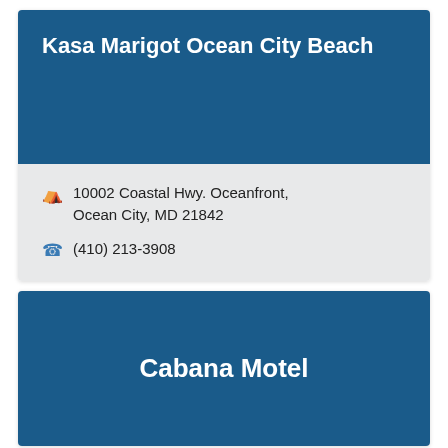Kasa Marigot Ocean City Beach
10002 Coastal Hwy. Oceanfront, Ocean City, MD 21842
(410) 213-3908
Cabana Motel